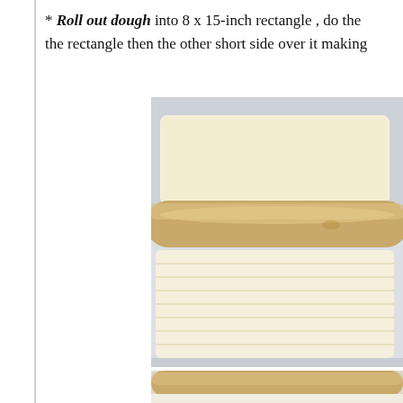* Roll out dough into 8 x 15-inch rectangle , do the rectangle then the other short side over it making
[Figure (photo): Photo of dough being rolled out with a wooden rolling pin on a white surface, showing two portions of flat dough rectangles]
[Figure (photo): Partial photo strip at bottom showing wooden rolling pin]